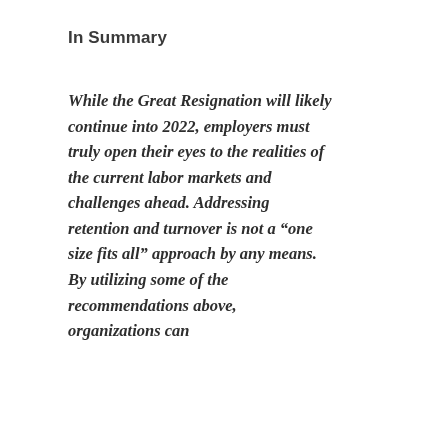In Summary
While the Great Resignation will likely continue into 2022, employers must truly open their eyes to the realities of the current labor markets and challenges ahead. Addressing retention and turnover is not a “one size fits all” approach by any means. By utilizing some of the recommendations above, organizations can